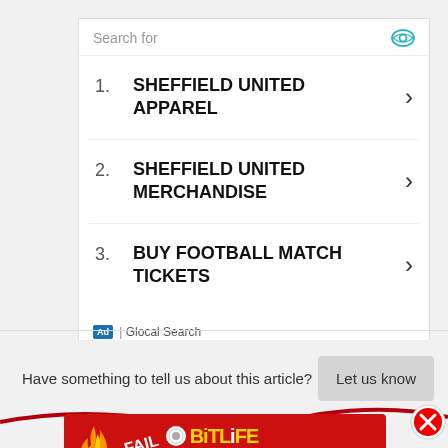[Figure (screenshot): Search ad box with 'Search for' header, eye icon, and three list items: 1. SHEFFIELD UNITED APPAREL, 2. SHEFFIELD UNITED MERCHANDISE, 3. BUY FOOTBALL MATCH TICKETS, each with a chevron arrow. Footer shows 'Ad | Glocal Search'.]
Have something to tell us about this article?
Let us know
[Figure (screenshot): Bottom advertisement banner for BitLife game showing fire, cartoon character, 'FAIL' text, BitLife logo, and 'START A NEW LIFE' button on red background.]